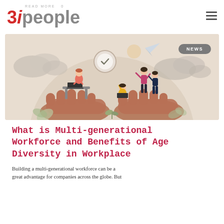READ MORE 0 3iPeople
[Figure (illustration): Illustration of a multi-generational workforce with diverse people working on laptops and collaborating, held above two cupped hands against a beige/sandy background with plants and clouds. A paper airplane flies in the background. A NEWS badge appears in the top right corner.]
What is Multi-generational Workforce and Benefits of Age Diversity in Workplace
Building a multi-generational workforce can be a great advantage for companies across the globe. But